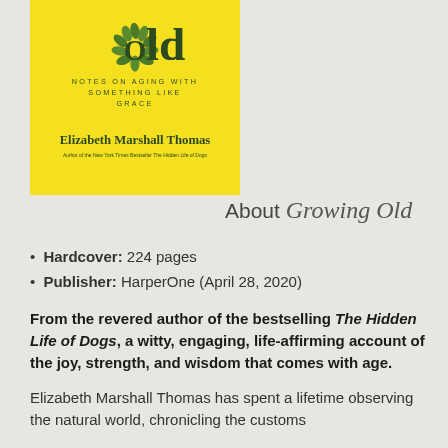[Figure (illustration): Book cover for 'Growing Old: Notes on Aging with Something Like Grace' by Elizabeth Marshall Thomas. Yellow background with large text 'old' and green leaf/wreath design. Author described as 'Author of the New York Times Bestseller The Hidden Life of Dogs'.]
About Growing Old
Hardcover: 224 pages
Publisher: HarperOne (April 28, 2020)
From the revered author of the bestselling The Hidden Life of Dogs, a witty, engaging, life-affirming account of the joy, strength, and wisdom that comes with age.
Elizabeth Marshall Thomas has spent a lifetime observing the natural world, chronicling the customs